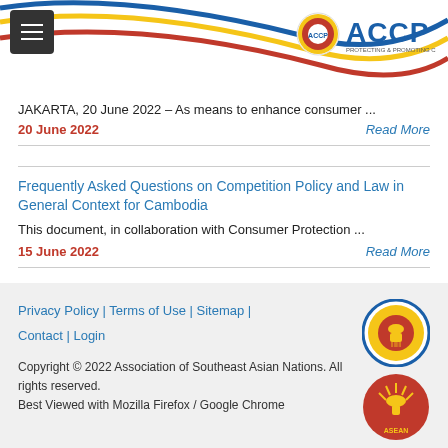[Figure (logo): ACCP website header with curved colored lines (blue, yellow, red) and ACCP logo with shield emblem on the right]
JAKARTA, 20 June 2022 – As means to enhance consumer ...
20 June 2022
Read More
Frequently Asked Questions on Competition Policy and Law in General Context for Cambodia
This document, in collaboration with Consumer Protection ...
15 June 2022
Read More
Privacy Policy | Terms of Use | Sitemap | Contact | Login
Copyright © 2022 Association of Southeast Asian Nations. All rights reserved.
Best Viewed with Mozilla Firefox / Google Chrome